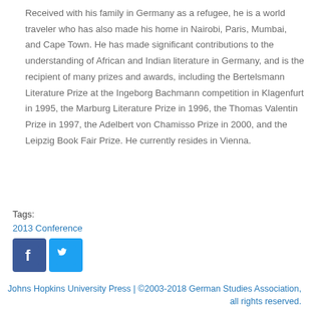Received with his family in Germany as a refugee, he is a world traveler who has also made his home in Nairobi, Paris, Mumbai, and Cape Town. He has made significant contributions to the understanding of African and Indian literature in Germany, and is the recipient of many prizes and awards, including the Bertelsmann Literature Prize at the Ingeborg Bachmann competition in Klagenfurt in 1995, the Marburg Literature Prize in 1996, the Thomas Valentin Prize in 1997, the Adelbert von Chamisso Prize in 2000, and the Leipzig Book Fair Prize. He currently resides in Vienna.
Tags:
2013 Conference
[Figure (other): Facebook and Twitter social media icons]
Johns Hopkins University Press | ©2003-2018 German Studies Association, all rights reserved.